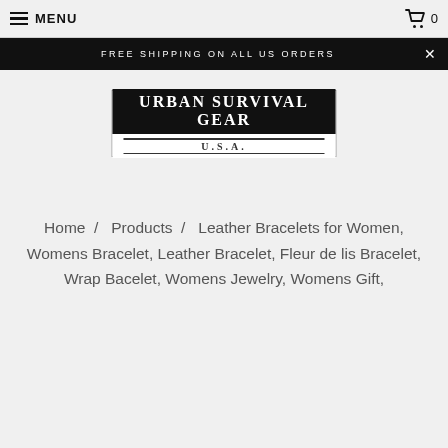MENU  0
FREE SHIPPING ON ALL US ORDERS
[Figure (logo): Urban Survival Gear U.S.A. logo — black rectangle with white bold serif text 'URBAN SURVIVAL GEAR' and 'U.S.A.' below with decorative lines]
Home / Products / Leather Bracelets for Women, Womens Bracelet, Leather Bracelet, Fleur de lis Bracelet, Wrap Bacelet, Womens Jewelry, Womens Gift,